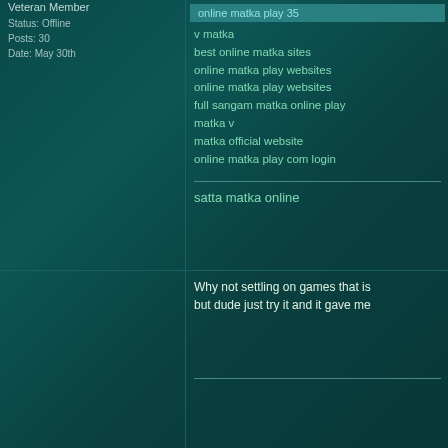Veteran Member
Status: Offline
Posts: 30
Date: May 30th
online matka play 35
v matka
best online matka sites
online matka play websites
online matka play websites
full sangam matka online play
matka v
matka official website
online matka play com login
satta matka online
nishaknapp
Senior Member
Status: Offline
Posts: 156
Date: June 1st
Why not settling on games that is but dude just try it and it gave me